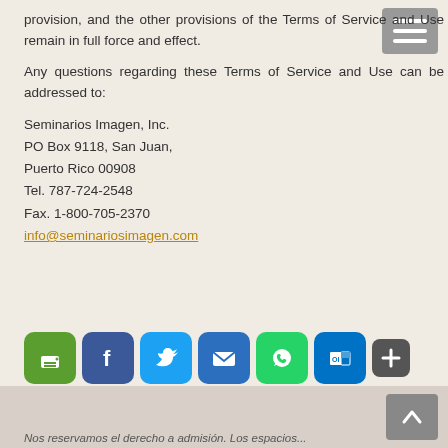provision, and the other provisions of the Terms of Service and Use remain in full force and effect.
Any questions regarding these Terms of Service and Use can be addressed to:
Seminarios Imagen, Inc.
PO Box 9118, San Juan,
Puerto Rico 00908
Tel. 787-724-2548
Fax. 1-800-705-2370
info@seminariosimagen.com
[Figure (infographic): Social sharing icon buttons: print (green), Facebook (blue), Twitter (light blue), email (blue), WhatsApp (green), Outlook (blue), more/plus (gray)]
Nos reservamos el derecho a admisión. Los espacios...